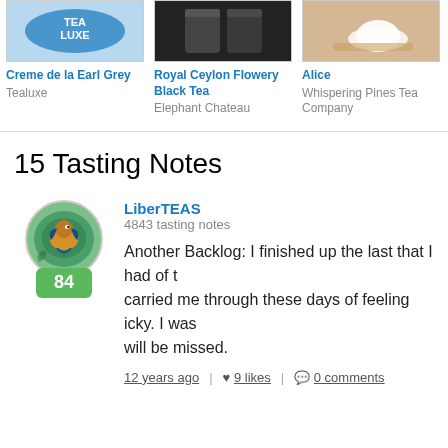[Figure (photo): Product image for Creme de la Earl Grey - Tealuxe logo on blue background]
Creme de la Earl Grey
Tealuxe
[Figure (photo): Product image for Royal Ceylon Flowery Black Tea - dark tin/canister on black background]
Royal Ceylon Flowery Black Tea
Elephant Chateau
[Figure (photo): Product image for Alice - cup and saucer on wooden background]
Alice
Whispering Pines Tea Company
15 Tasting Notes
[Figure (photo): User avatar: circular image of a bird on teal/green background with green score badge showing 84]
LiberTEAS
4843 tasting notes
Another Backlog: I finished up the last that I had of t... carried me through these days of feeling icky. I was ... will be missed.
12 years ago | ♥ 9 likes | 💬 0 comments